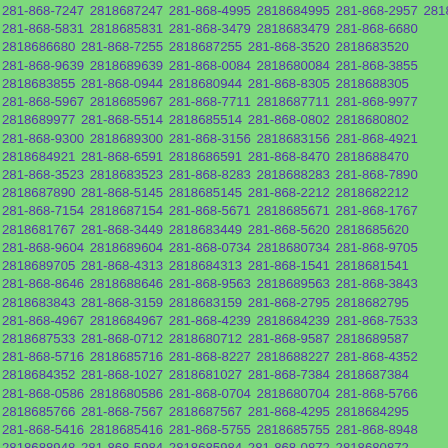281-868-7247 2818687247 281-868-4995 2818684995 281-868-2957 2818682957 281-868-5831 2818685831 281-868-3479 2818683479 281-868-6680 2818686680 281-868-7255 2818687255 281-868-3520 2818683520 281-868-9639 2818689639 281-868-0084 2818680084 281-868-3855 2818683855 281-868-0944 2818680944 281-868-8305 2818688305 281-868-5967 2818685967 281-868-7711 2818687711 281-868-9977 2818689977 281-868-5514 2818685514 281-868-0802 2818680802 281-868-9300 2818689300 281-868-3156 2818683156 281-868-4921 2818684921 281-868-6591 2818686591 281-868-8470 2818688470 281-868-3523 2818683523 281-868-8283 2818688283 281-868-7890 2818687890 281-868-5145 2818685145 281-868-2212 2818682212 281-868-7154 2818687154 281-868-5671 2818685671 281-868-1767 2818681767 281-868-3449 2818683449 281-868-5620 2818685620 281-868-9604 2818689604 281-868-0734 2818680734 281-868-9705 2818689705 281-868-4313 2818684313 281-868-1541 2818681541 281-868-8646 2818688646 281-868-9563 2818689563 281-868-3843 2818683843 281-868-3159 2818683159 281-868-2795 2818682795 281-868-4967 2818684967 281-868-4239 2818684239 281-868-7533 2818687533 281-868-0712 2818680712 281-868-9587 2818689587 281-868-5716 2818685716 281-868-8227 2818688227 281-868-4352 2818684352 281-868-1027 2818681027 281-868-7384 2818687384 281-868-0586 2818680586 281-868-0704 2818680704 281-868-5766 2818685766 281-868-7567 2818687567 281-868-4295 2818684295 281-868-5416 2818685416 281-868-5755 2818685755 281-868-8948 2818688948 281-868-5984 2818685984 281-868-0872 2818680872